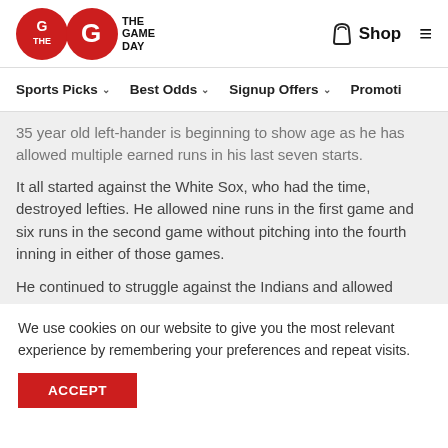The Game Day — Shop, Navigation menu
Sports Picks · Best Odds · Signup Offers · Promotions
35 year old left-hander is beginning to show age as he has allowed multiple earned runs in his last seven starts.
It all started against the White Sox, who had the time, destroyed lefties. He allowed nine runs in the first game and six runs in the second game without pitching into the fourth inning in either of those games.
He continued to struggle against the Indians and allowed
We use cookies on our website to give you the most relevant experience by remembering your preferences and repeat visits.
ACCEPT